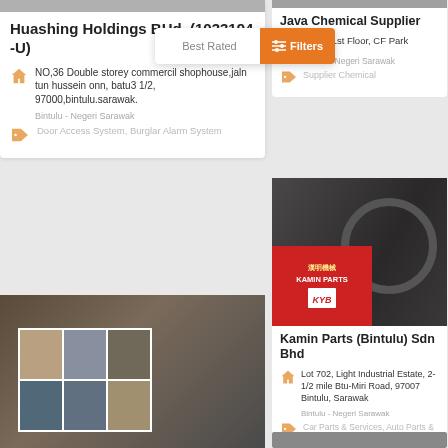Best Rated
Filters
Huashing Holdings BHd. (1033194 -U)
NO,36 Double storey commercil shophouse,jaln tun hussein onn, batu3 1/2, 97000,bintulu.sarawak.
Bintulu - Negeri Sarawak
Door Access System, Burglar Alarm System
[Figure (photo): Photo of audio mixing console with hands operating sliders, with an overlaid grid of smaller photos]
Office Sanitary Suppliers
Lot 429, Block 38, Kemena Industrial Estate, P.O.Box 1899, 97010 Bintulu, Sarawak Malaysia
Bintulu - Negeri Sarawak
Java Chemical Supplier
No 32, 1st Floor, CF Park
Bintulu - Negeri Sarawak
Supplier Chemical
[Figure (photo): Collage of Kamin Parts store sign and person driving car interior]
Kamin Parts (Bintulu) Sdn Bhd
Lot 702, Light Industrial Estate, 2-1/2 mile Btu-Miri Road, 97007 Bintulu, Sarawak
Bintulu - Negeri Sarawak
Car Parts & Services, Auto Parts & Services